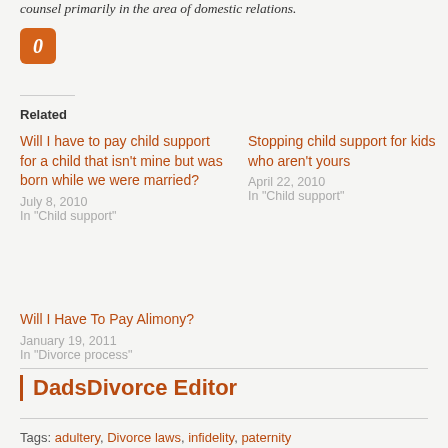counsel primarily in the area of domestic relations.
[Figure (logo): Orange square icon with italic letter O]
Related
Will I have to pay child support for a child that isn't mine but was born while we were married?
July 8, 2010
In "Child support"
Stopping child support for kids who aren't yours
April 22, 2010
In "Child support"
Will I Have To Pay Alimony?
January 19, 2011
In "Divorce process"
DadsDivorce Editor
Tags: adultery, Divorce laws, infidelity, paternity